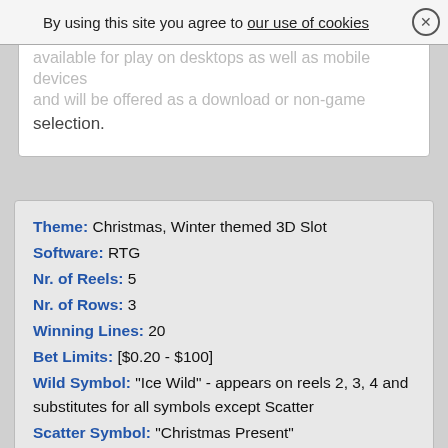By using this site you agree to our use of cookies
selection.
Theme: Christmas, Winter themed 3D Slot
Software: RTG
Nr. of Reels: 5
Nr. of Rows: 3
Winning Lines: 20
Bet Limits: [$0.20 - $100]
Wild Symbol: "Ice Wild" - appears on reels 2, 3, 4 and substitutes for all symbols except Scatter
Scatter Symbol: "Christmas Present"
Bonus Spins: 10
Multipliers: (x2-x15 - Increasing Winnings Multiplier)
Game Features: Exploding-Crushing Winning Symbols; Morth Magic Icecold Multiplier Feature; Bonus Spin Round with Increasing Multipliers; 5 Extra Spins Feature